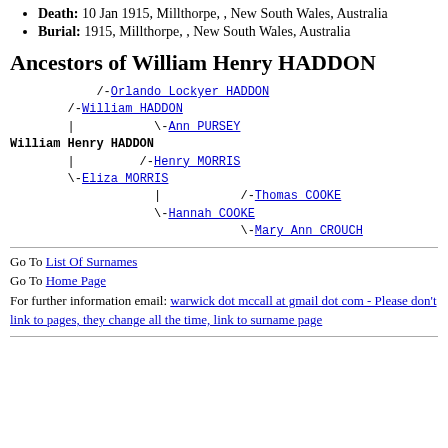Death: 10 Jan 1915, Millthorpe, , New South Wales, Australia
Burial: 1915, Millthorpe, , New South Wales, Australia
Ancestors of William Henry HADDON
[Figure (other): Ancestor tree for William Henry HADDON showing parents William HADDON and Eliza MORRIS, grandparents Orlando Lockyer HADDON, Ann PURSEY, Henry MORRIS, Hannah COOKE, and great-grandparents Thomas COOKE and Mary Ann CROUCH]
Go To List Of Surnames
Go To Home Page
For further information email: warwick dot mccall at gmail dot com - Please don't link to pages, they change all the time, link to surname page